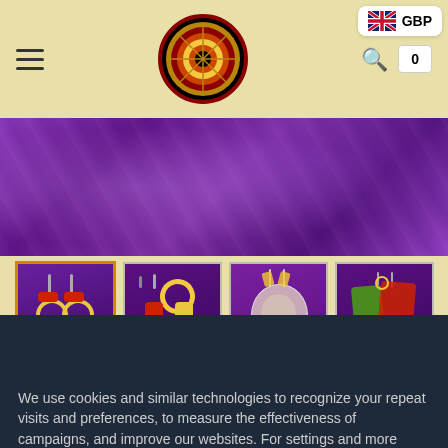Navigation header with hamburger menu, circular logo, GBP currency badge, search icon, and cart button
[Figure (photo): Purple/violet shimmery fabric background banner]
[Figure (photo): Four product thumbnail images of earrings and jewellery items on purple background]
We use cookies and similar technologies to recognize your repeat visits and preferences, to measure the effectiveness of campaigns, and improve our websites. For settings and more information about cookies, view our Cookie Policy. By clicking "I accept" on this banner or using our site, you consent to the use of cookies.
I ACCEPT